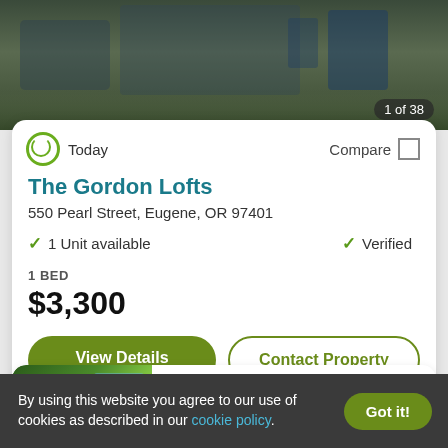[Figure (photo): Exterior photo of The Gordon Lofts apartment building at night, showing modern architecture with glass and lighting]
1 of 38
Today
Compare
The Gordon Lofts
550 Pearl Street, Eugene, OR 97401
1 Unit available
Verified
1 BED
$3,300
View Details
Contact Property
[Figure (photo): Partial photo of a second listing card showing trees and blue sky, labeled Top Rated for Location]
Top Rated for Location
By using this website you agree to our use of cookies as described in our cookie policy.
Got it!